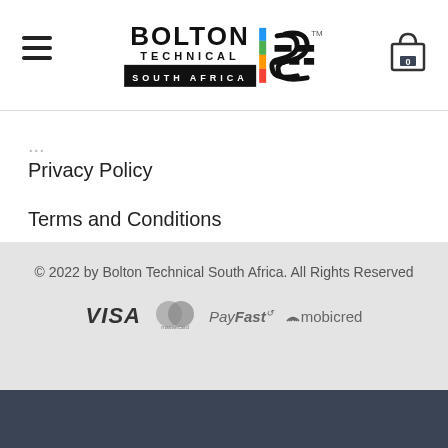[Figure (logo): Bolton Technical South Africa logo with hamburger menu and cart icon]
Privacy Policy
Terms and Conditions
Giving Back
© 2022 by Bolton Technical South Africa. All Rights Reserved
[Figure (logo): Payment logos: VISA, Mastercard, PayFast, Mobicred]